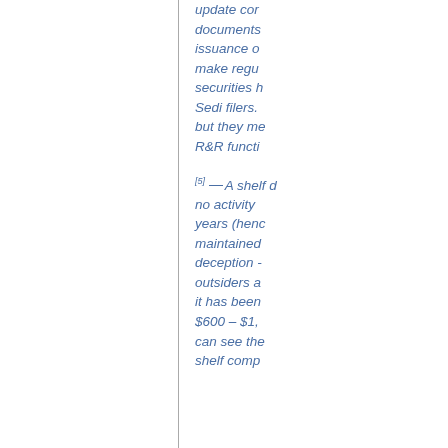update cor documents issuance o make regu securities h Sedi filers. but they me R&R functi
[5] A shelf d no activity years (henc maintained deception - outsiders a it has been $600 – $1, can see the shelf comp